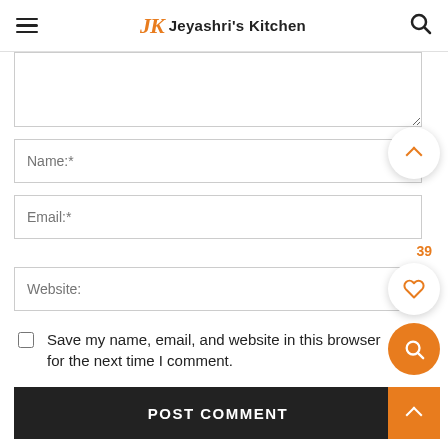JK Jeyashri's Kitchen
[Figure (screenshot): Comment textarea (partially visible, empty)]
[Figure (screenshot): Name input field with placeholder 'Name:*']
[Figure (screenshot): Email input field with placeholder 'Email:*']
[Figure (screenshot): Website input field with placeholder 'Website:']
Save my name, email, and website in this browser for the next time I comment.
POST COMMENT